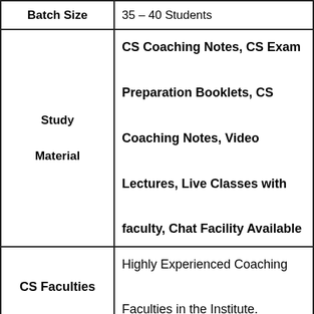| Feature | Details |
| --- | --- |
| Batch Size | 35 – 40 Students |
| Study Material | CS Coaching Notes, CS Exam Preparation Booklets, CS Coaching Notes, Video Lectures, Live Classes with faculty, Chat Facility Available |
| CS Faculties | Highly Experienced Coaching Faculties in the Institute. |
| CS Coaching Results | Best Result in Past years |
| CS Coaching Rating | 4.2 out of 5 stars |